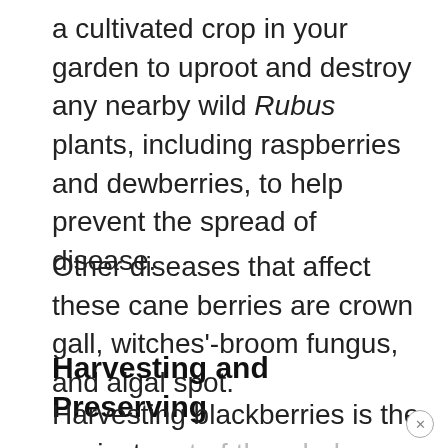a cultivated crop in your garden to uproot and destroy any nearby wild Rubus plants, including raspberries and dewberries, to help prevent the spread of disease.
Other diseases that affect these cane berries are crown gall, witches'-broom fungus, and algal spot.
Harvesting and Preserving
Harvesting blackberries is the easiest part of the whole growing experience.